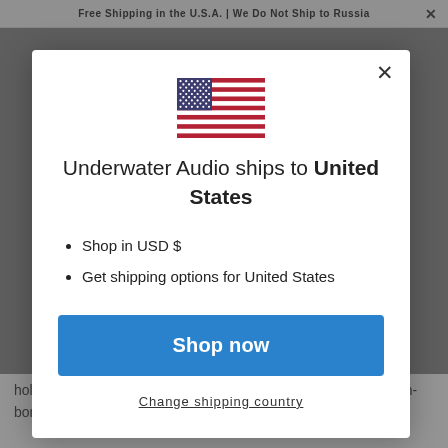Free Shipping in the U.S.A. | We Do Not Ship to Russia
[Figure (illustration): US flag icon — stars and stripes]
Underwater Audio ships to United States
Shop in USD $
Get shipping options for United States
Shop now
Change shipping country
hold their breath the longest while submerged in a pool. German-born Tom Seitas broke the world